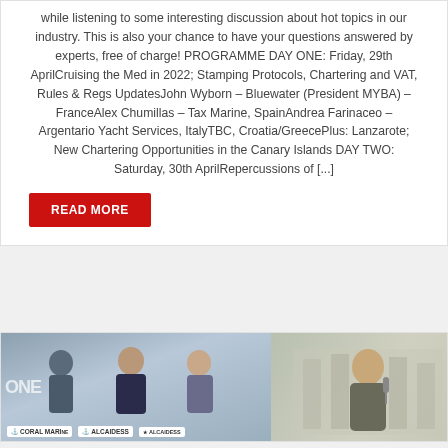while listening to some interesting discussion about hot topics in our industry. This is also your chance to have your questions answered by experts, free of charge! PROGRAMME DAY ONE: Friday, 29th AprilCruising the Med in 2022; Stamping Protocols, Chartering and VAT, Rules & Regs UpdatesJohn Wyborn – Bluewater (President MYBA) – FranceAlex Chumillas – Tax Marine, SpainAndrea Farinaceo – Argentario Yacht Services, ItalyTBC, Croatia/GreecePlus: Lanzarote; New Chartering Opportunities in the Canary Islands DAY TWO: Saturday, 30th AprilRepercussions of [...]
READ MORE
[Figure (photo): Two panels side by side: left panel shows three people (two women and a man) at a panel discussion table with logos including Coral Marine and Alcaidesa visible; right panel shows a man being interviewed outdoors.]